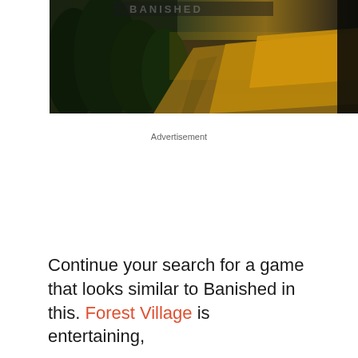[Figure (photo): Partial game screenshot showing a forested landscape with mountains and golden fields, appearing to be a top portion of a game title screen or promotional image.]
Advertisement
Continue your search for a game that looks similar to Banished in this. Forest Village is entertaining,